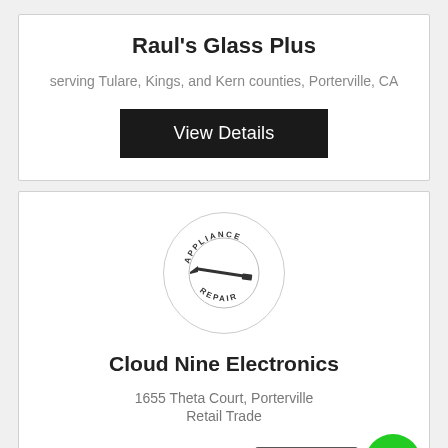Raul's Glass Plus
serving Tulare, Kings, and Kern counties, Porterville, CA
View Details
[Figure (logo): Appliance Repair logo — circular stamp with screwdriver icon, text 'APPLIANCE REPAIR' around the border]
Cloud Nine Electronics
1655 Theta Court, Porterville
Retail Trade
Call Now